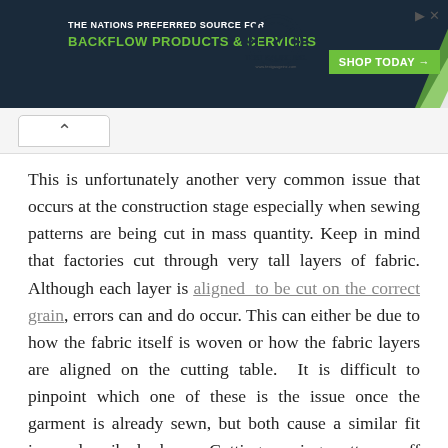[Figure (screenshot): Banner advertisement for Test Gauge Inc. promoting backflow products and services with a green diagonal design, Test Gauge Inc. logo, and a green Shop Today button.]
This is unfortunately another very common issue that occurs at the construction stage especially when sewing patterns are being cut in mass quantity. Keep in mind that factories cut through very tall layers of fabric. Although each layer is aligned to be cut on the correct grain, errors can and do occur. This can either be due to how the fabric itself is woven or how the fabric layers are aligned on the cutting table.  It is difficult to pinpoint which one of these is the issue once the garment is already sewn, but both cause a similar fit issue described above. Cutting sewing patterns off grain is a common occurrence with less-expensive clothing items that are manufactured in very large quantities. This is due to the fact that larger quantities are cut through more layers of fabric